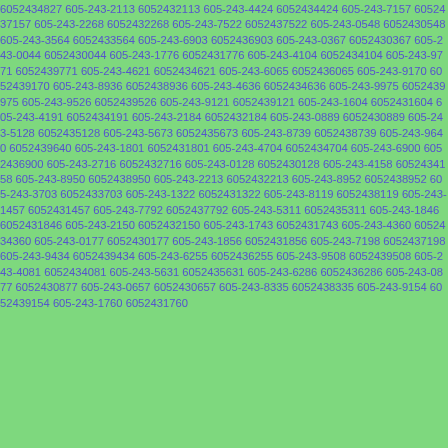6052434827 605-243-2113 6052432113 605-243-4424 6052434424 605-243-7157 6052437157 605-243-2268 6052432268 605-243-7522 6052437522 605-243-0548 6052430548 605-243-3564 6052433564 605-243-6903 6052436903 605-243-0367 6052430367 605-243-0044 6052430044 605-243-1776 6052431776 605-243-4104 6052434104 605-243-9771 6052439771 605-243-4621 6052434621 605-243-6065 6052436065 605-243-9170 6052439170 605-243-8936 6052438936 605-243-4636 6052434636 605-243-9975 6052439975 605-243-9526 6052439526 605-243-9121 6052439121 605-243-1604 6052431604 605-243-4191 6052434191 605-243-2184 6052432184 605-243-0889 6052430889 605-243-5128 6052435128 605-243-5673 6052435673 605-243-8739 6052438739 605-243-9640 6052439640 605-243-1801 6052431801 605-243-4704 6052434704 605-243-6900 6052436900 605-243-2716 6052432716 605-243-0128 6052430128 605-243-4158 6052434158 605-243-8950 6052438950 605-243-2213 6052432213 605-243-8952 6052438952 605-243-3703 6052433703 605-243-1322 6052431322 605-243-8119 6052438119 605-243-1457 6052431457 605-243-7792 6052437792 605-243-5311 6052435311 605-243-1846 6052431846 605-243-2150 6052432150 605-243-1743 6052431743 605-243-4360 6052434360 605-243-0177 6052430177 605-243-1856 6052431856 605-243-7198 6052437198 605-243-9434 6052439434 605-243-6255 6052436255 605-243-9508 6052439508 605-243-4081 6052434081 605-243-5631 6052435631 605-243-6286 6052436286 605-243-0877 6052430877 605-243-0657 6052430657 605-243-8335 6052438335 605-243-9154 6052439154 605-243-1760 6052431760